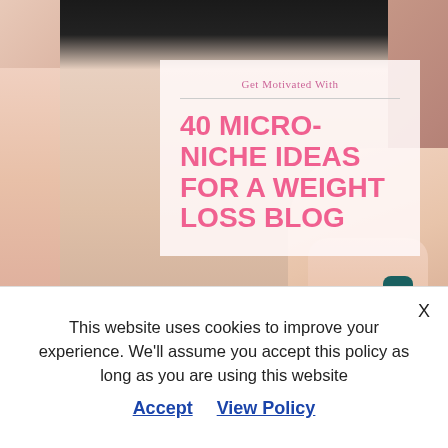[Figure (photo): Background photo of a person's torso/midsection with hand holding waist, teal nail polish visible]
Get Motivated With
40 MICRO-NICHE IDEAS FOR A WEIGHT LOSS BLOG
This website uses cookies to improve your experience. We'll assume you accept this policy as long as you are using this website
Accept   View Policy